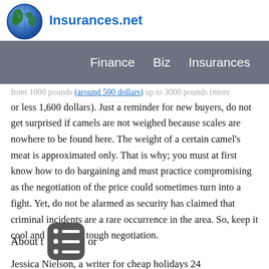Insurances.net — Finance  Biz  Insurances
from 1000 pounds (around 500 dollars) up to 3000 pounds (more or less 1,600 dollars). Just a reminder for new buyers, do not get surprised if camels are not weighed because scales are nowhere to be found here. The weight of a certain camel's meat is approximated only. That is why; you must at first know how to do bargaining and must practice compromising as the negotiation of the price could sometimes turn into a fight. Yet, do not be alarmed as security has claimed that criminal incidents are a rare occurrence in the area. So, keep it cool and enjoy the tough negotiation.
About t[author]or
Jessica Nielson, a writer for cheap holidays 24